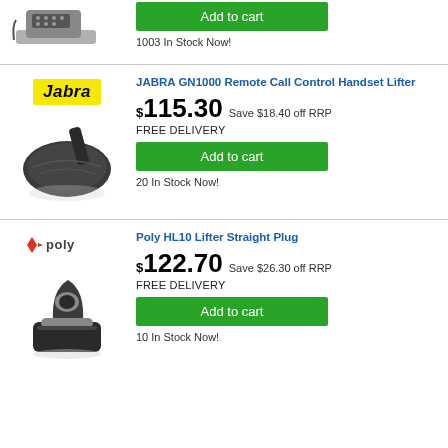[Figure (photo): Partial view of a desk phone product image at top of page]
Add to cart
1003 In Stock Now!
[Figure (logo): Jabra brand logo - yellow background with italic black text]
JABRA GN1000 Remote Call Control Handset Lifter
[Figure (photo): Jabra GN1000 handset lifter device - black plastic accessory]
$115.30 Save $18.40 off RRP
FREE DELIVERY
Add to cart
20 In Stock Now!
[Figure (logo): Poly brand logo - red P icon with poly text]
Poly HL10 Lifter Straight Plug
[Figure (photo): Poly HL10 Lifter device - black plastic handset lifter accessory]
$122.70 Save $26.30 off RRP
FREE DELIVERY
Add to cart
10 In Stock Now!